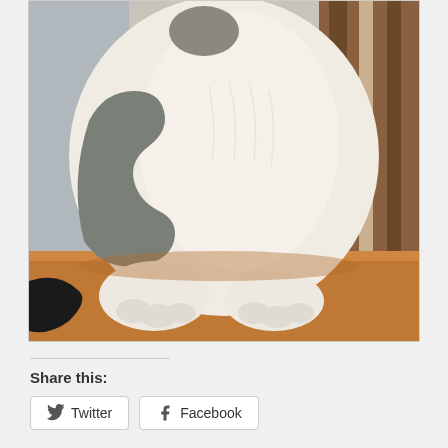[Figure (photo): Close-up photo of a white cat with gray tabby markings sitting on a wooden table. The cat's torso, front paws, and a distinctive curved gray stripe pattern on the side are visible. A wooden chair and light-colored wall are in the background.]
Share this:
Twitter
Facebook